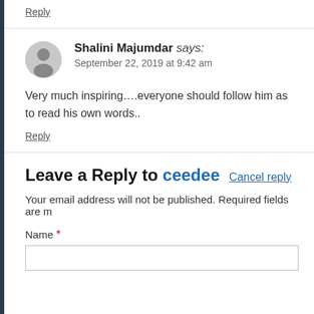Reply
Shalini Majumdar says: September 22, 2019 at 9:42 am
Very much inspiring….everyone should follow him as to read his own words..
Reply
Leave a Reply to ceedee Cancel reply
Your email address will not be published. Required fields are m
Name *